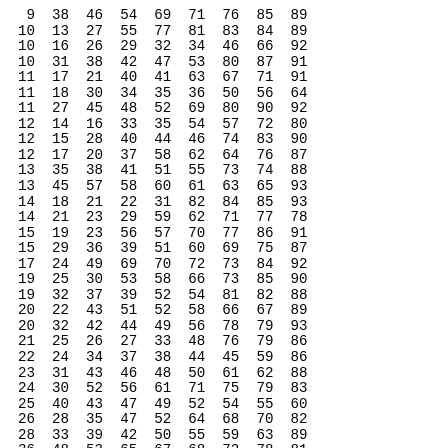| 9 | 38 | 46 | 54 | 69 | 71 | 76 | 85 | 89 |
| 10 | 13 | 27 | 55 | 77 | 81 | 83 | 84 | 89 |
| 10 | 16 | 26 | 29 | 32 | 34 | 46 | 66 | 92 |
| 10 | 31 | 38 | 42 | 47 | 53 | 80 | 87 | 91 |
| 11 | 17 | 21 | 40 | 41 | 63 | 67 | 71 | 91 |
| 11 | 18 | 30 | 34 | 35 | 36 | 50 | 56 | 64 |
| 11 | 27 | 45 | 48 | 52 | 69 | 80 | 90 | 92 |
| 12 | 14 | 16 | 33 | 35 | 54 | 57 | 72 | 80 |
| 12 | 15 | 28 | 40 | 44 | 46 | 74 | 83 | 90 |
| 12 | 17 | 20 | 37 | 58 | 62 | 64 | 76 | 87 |
| 13 | 35 | 38 | 41 | 51 | 55 | 73 | 74 | 88 |
| 13 | 45 | 57 | 58 | 60 | 61 | 63 | 65 | 93 |
| 14 | 18 | 21 | 22 | 31 | 82 | 84 | 85 | 93 |
| 14 | 21 | 23 | 29 | 59 | 62 | 71 | 77 | 78 |
| 15 | 19 | 23 | 56 | 57 | 70 | 77 | 86 | 91 |
| 15 | 29 | 36 | 39 | 51 | 60 | 69 | 75 | 87 |
| 17 | 24 | 49 | 69 | 70 | 72 | 73 | 84 | 92 |
| 19 | 25 | 30 | 53 | 58 | 66 | 73 | 85 | 90 |
| 19 | 32 | 37 | 39 | 52 | 54 | 81 | 82 | 88 |
| 20 | 22 | 43 | 51 | 52 | 58 | 66 | 67 | 89 |
| 20 | 32 | 42 | 44 | 49 | 56 | 78 | 79 | 93 |
| 21 | 25 | 26 | 27 | 33 | 48 | 76 | 79 | 86 |
| 22 | 24 | 34 | 37 | 38 | 44 | 45 | 59 | 86 |
| 23 | 31 | 43 | 46 | 48 | 50 | 61 | 62 | 88 |
| 24 | 30 | 52 | 56 | 61 | 71 | 75 | 79 | 83 |
| 25 | 40 | 43 | 47 | 49 | 52 | 54 | 55 | 60 |
| 26 | 28 | 35 | 47 | 52 | 64 | 68 | 70 | 82 |
| 28 | 33 | 39 | 42 | 50 | 55 | 59 | 63 | 89 |
| 36 | 48 | 53 | 65 | 67 | 68 | 72 | 78 | 81 |